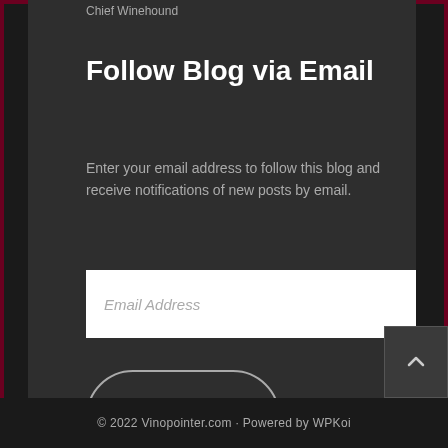Chief Winehound
Follow Blog via Email
Enter your email address to follow this blog and receive notifications of new posts by email.
Email Address
Follow
© 2022 Vinopointer.com · Powered by WPKoi